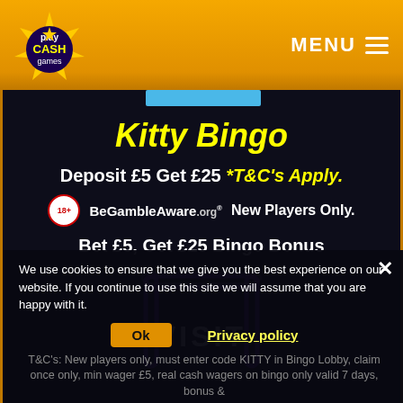Play Cash Games — MENU
Kitty Bingo
Deposit £5 Get £25 *T&C's Apply.
BeGambleAware.org  New Players Only.
Bet £5, Get £25 Bingo Bonus
[Figure (illustration): Purple neon rounded rectangle frame with VISIT text in center]
We use cookies to ensure that we give you the best experience on our website. If you continue to use this site we will assume that you are happy with it.
T&C's: New players only, must enter code KITTY in Bingo Lobby, claim once only, min wager £5, real cash wagers on bingo only valid 7 days, bonus &